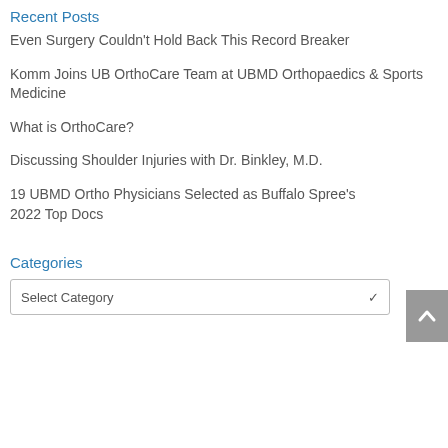Recent Posts
Even Surgery Couldn't Hold Back This Record Breaker
Komm Joins UB OrthoCare Team at UBMD Orthopaedics & Sports Medicine
What is OrthoCare?
Discussing Shoulder Injuries with Dr. Binkley, M.D.
19 UBMD Ortho Physicians Selected as Buffalo Spree's 2022 Top Docs
Categories